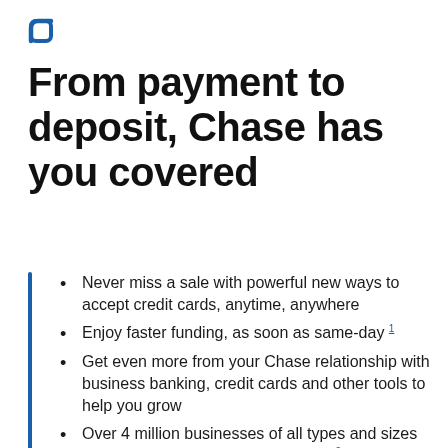[Figure (logo): Chase logo — rounded square bracket icon in blue]
From payment to deposit, Chase has you covered
Never miss a sale with powerful new ways to accept credit cards, anytime, anywhere
Enjoy faster funding, as soon as same-day 1
Get even more from your Chase relationship with business banking, credit cards and other tools to help you grow
Over 4 million businesses of all types and sizes trust financial solutions from Chase 2